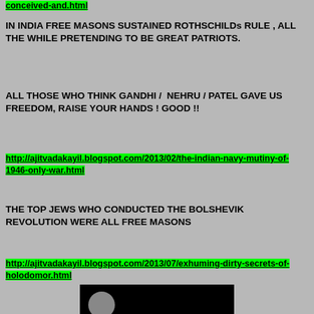conceived-and.html
IN INDIA FREE MASONS SUSTAINED ROTHSCHILDs RULE , ALL THE WHILE PRETENDING TO BE GREAT PATRIOTS.
ALL THOSE WHO THINK GANDHI /  NEHRU / PATEL GAVE US FREEDOM, RAISE YOUR HANDS ! GOOD !!
http://ajitvadakayil.blogspot.com/2013/02/the-indian-navy-mutiny-of-1946-only-war.html
THE TOP JEWS WHO CONDUCTED THE BOLSHEVIK REVOLUTION WERE ALL FREE MASONS
http://ajitvadakayil.blogspot.com/2013/07/exhuming-dirty-secrets-of-holodomor.html
[Figure (photo): Black background image with a circular figure on the left and text reading 'Freemasonry And' at the bottom]